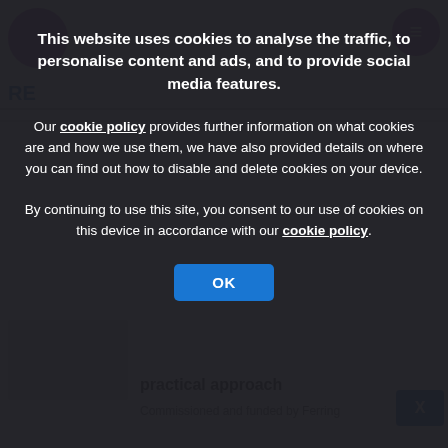This website uses cookies to analyse the traffic, to personalise content and ads, and to provide social media features.
Our cookie policy provides further information on what cookies are and how we use them, we have also provided details on where you can find out how to disable and delete cookies on your device.
By continuing to use this site, you consent to our use of cookies on this device in accordance with our cookie policy.
OK
practical approach
Commissioned and funded by Ferring